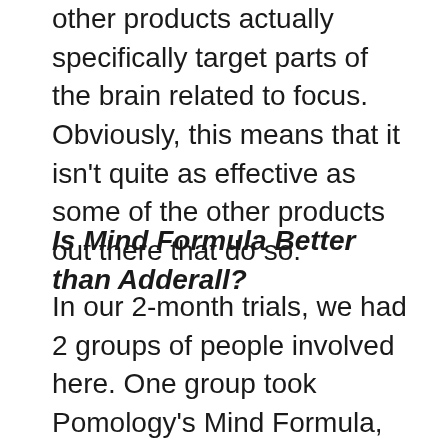other products actually specifically target parts of the brain related to focus. Obviously, this means that it isn't quite as effective as some of the other products out there that do so.
Is Mind Formula Better than Adderall?
In our 2-month trials, we had 2 groups of people involved here. One group took Pomology's Mind Formula, while the other Adderall. Sad to say, Mind Formula wasn't nearly as effective as Adderall was. It did, however, allow more possibilities for extended usage, due to the fact that it did not exhibit any side effects. On the contrary, it actually genuinely felt natural, or clean. It seemingly cleansed the body in similar ways